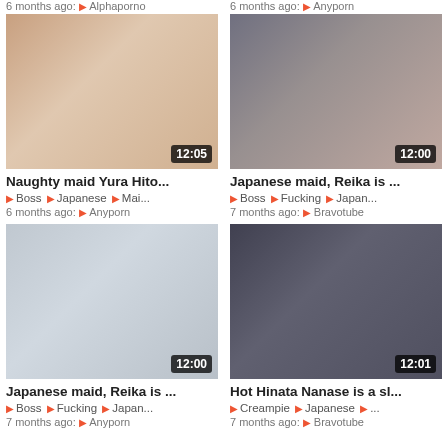6 months ago: Alphaporno
6 months ago: Anyporn
[Figure (photo): Video thumbnail showing two people in bathroom setting, duration 12:05]
Naughty maid Yura Hito...
Boss  Japanese  Mai...
6 months ago: Anyporn
[Figure (photo): Video thumbnail showing person in cat-maid costume, duration 12:00]
Japanese maid, Reika is ...
Boss  Fucking  Japan...
7 months ago: Bravotube
[Figure (photo): Video thumbnail showing person in cat-maid costume standing, duration 12:00]
Japanese maid, Reika is ...
Boss  Fucking  Japan...
7 months ago: Anyporn
[Figure (photo): Video thumbnail showing close-up in black lingerie, duration 12:01]
Hot Hinata Nanase is a sl...
Creampie  Japanese  ...
7 months ago: Bravotube